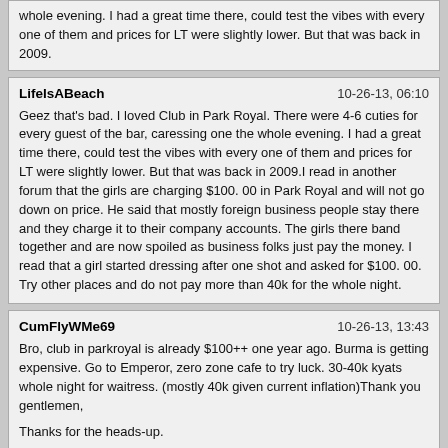whole evening. I had a great time there, could test the vibes with every one of them and prices for LT were slightly lower. But that was back in 2009.
LifeIsABeach | 10-26-13, 06:10

Geez that's bad. I loved Club in Park Royal. There were 4-6 cuties for every guest of the bar, caressing one the whole evening. I had a great time there, could test the vibes with every one of them and prices for LT were slightly lower. But that was back in 2009.I read in another forum that the girls are charging $100. 00 in Park Royal and will not go down on price. He said that mostly foreign business people stay there and they charge it to their company accounts. The girls there band together and are now spoiled as business folks just pay the money. I read that a girl started dressing after one shot and asked for $100. 00. Try other places and do not pay more than 40k for the whole night.
CumFlyWMe69 | 10-26-13, 13:43

Bro, club in parkroyal is already $100++ one year ago. Burma is getting expensive. Go to Emperor, zero zone cafe to try luck. 30-40k kyats whole night for waitress. (mostly 40k given current inflation)Thank you gentlemen,

Thanks for the heads-up.

I don't mind paying a little more for a higher quality, is the quality that much better at 100?

I was also wondering about the massages. I read a few reports on here about FS massages. Is it fair to say that any massage place in town, FS can be bought?

Thanks for your help guys!

I really appreciate it.